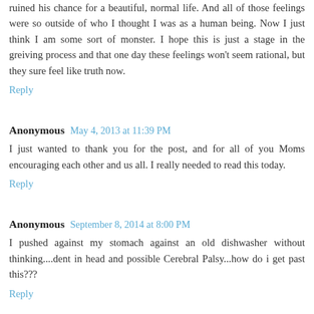ruined his chance for a beautiful, normal life. And all of those feelings were so outside of who I thought I was as a human being. Now I just think I am some sort of monster. I hope this is just a stage in the greiving process and that one day these feelings won't seem rational, but they sure feel like truth now.
Reply
Anonymous  May 4, 2013 at 11:39 PM
I just wanted to thank you for the post, and for all of you Moms encouraging each other and us all. I really needed to read this today.
Reply
Anonymous  September 8, 2014 at 8:00 PM
I pushed against my stomach against an old dishwasher without thinking....dent in head and possible Cerebral Palsy...how do i get past this???
Reply